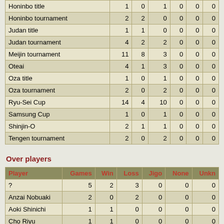| Tournament | Games | Win | Loss | Jigo | None | Unkn |
| --- | --- | --- | --- | --- | --- | --- |
| Honinbo title | 1 | 0 | 1 | 0 | 0 | 0 |
| Honinbo tournament | 2 | 2 | 0 | 0 | 0 | 0 |
| Judan title | 1 | 1 | 0 | 0 | 0 | 0 |
| Judan tournament | 4 | 2 | 2 | 0 | 0 | 0 |
| Meijin tournament | 11 | 8 | 3 | 0 | 0 | 0 |
| Oteai | 4 | 1 | 3 | 0 | 0 | 0 |
| Oza title | 1 | 0 | 1 | 0 | 0 | 0 |
| Oza tournament | 2 | 0 | 2 | 0 | 0 | 0 |
| Ryu-Sei Cup | 14 | 4 | 10 | 0 | 0 | 0 |
| Samsung Cup | 1 | 0 | 1 | 0 | 0 | 0 |
| Shinjin-O | 2 | 1 | 1 | 0 | 0 | 0 |
| Tengen tournament | 2 | 0 | 2 | 0 | 0 | 0 |
Over players
| Player | Games | Win | Loss | Jigo | None | Unkn |
| --- | --- | --- | --- | --- | --- | --- |
| ? | 5 | 2 | 3 | 0 | 0 | 0 |
| Anzai Nobuaki | 2 | 0 | 2 | 0 | 0 | 0 |
| Aoki Shinichi | 1 | 1 | 0 | 0 | 0 | 0 |
| Cho Riyu | 1 | 1 | 0 | 0 | 0 | 0 |
| Chō Chikun | 3 | 3 | 0 | 0 | 0 | 0 |